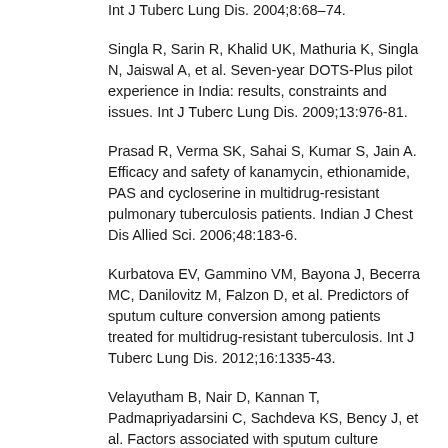Int J Tuberc Lung Dis. 2004;8:68–74.
Singla R, Sarin R, Khalid UK, Mathuria K, Singla N, Jaiswal A, et al. Seven-year DOTS-Plus pilot experience in India: results, constraints and issues. Int J Tuberc Lung Dis. 2009;13:976-81.
Prasad R, Verma SK, Sahai S, Kumar S, Jain A. Efficacy and safety of kanamycin, ethionamide, PAS and cycloserine in multidrug-resistant pulmonary tuberculosis patients. Indian J Chest Dis Allied Sci. 2006;48:183-6.
Kurbatova EV, Gammino VM, Bayona J, Becerra MC, Danilovitz M, Falzon D, et al. Predictors of sputum culture conversion among patients treated for multidrug-resistant tuberculosis. Int J Tuberc Lung Dis. 2012;16:1335-43.
Velayutham B, Nair D, Kannan T, Padmapriyadarsini C, Sachdeva KS, Bency J, et al. Factors associated with sputum culture conversion in multidrug-resistant pulmonary tuberculosis. Int J Tuberc Lung Dis. 2016;20:1671-6.